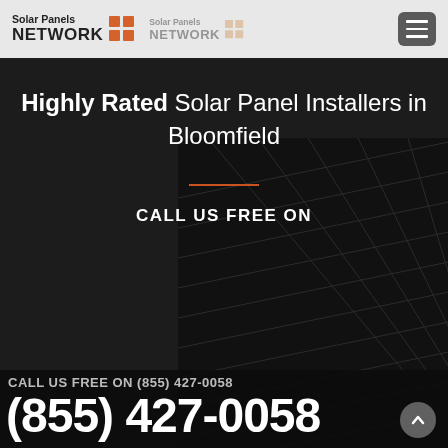Solar Panels NETWORK | Solar Panels NETWORK
Highly Rated Solar Panel Installers in Bloomfield
CALL US FREE ON
CALL US FREE ON (855) 427-0058
(855) 427-0058